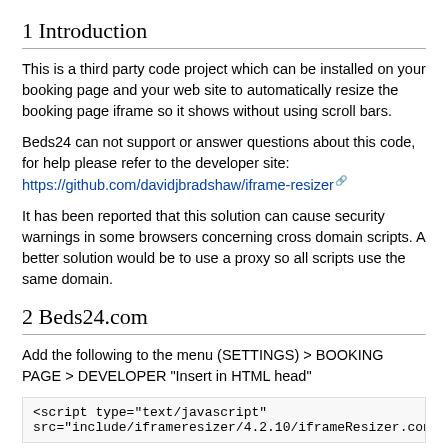1 Introduction
This is a third party code project which can be installed on your booking page and your web site to automatically resize the booking page iframe so it shows without using scroll bars.
Beds24 can not support or answer questions about this code, for help please refer to the developer site:
https://github.com/davidjbradshaw/iframe-resizer
It has been reported that this solution can cause security warnings in some browsers concerning cross domain scripts. A better solution would be to use a proxy so all scripts use the same domain.
2 Beds24.com
Add the following to the menu (SETTINGS) > BOOKING PAGE > DEVELOPER "Insert in HTML head"
<script type="text/javascript"
src="include/iframeresizer/4.2.10/iframeResizer.conf